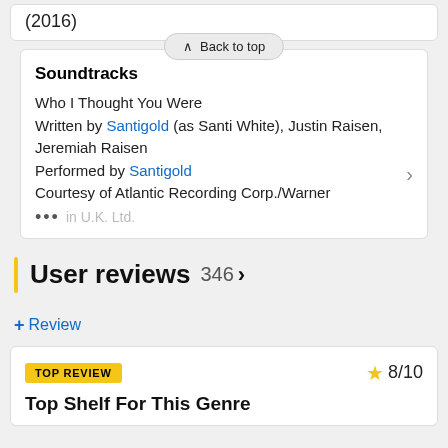(2016)
Soundtracks
Who I Thought You Were
Written by Santigold (as Santi White), Justin Raisen, Jeremiah Raisen
Performed by Santigold
Courtesy of Atlantic Recording Corp./Warner
... in U.K. Ltd.
User reviews 346 >
+ Review
TOP REVIEW   ★ 8/10
Top Shelf For This Genre